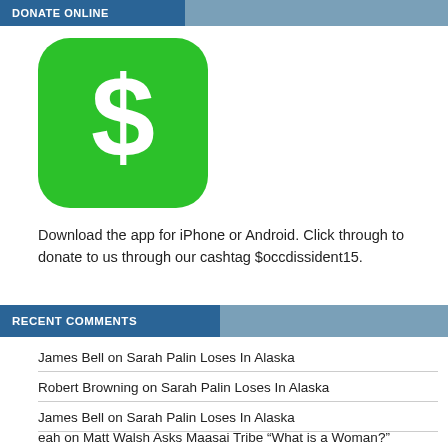DONATE ONLINE
[Figure (logo): Cash App green rounded square icon with white dollar sign]
Download the app for iPhone or Android. Click through to donate to us through our cashtag $occdissident15.
RECENT COMMENTS
James Bell on Sarah Palin Loses In Alaska
Robert Browning on Sarah Palin Loses In Alaska
James Bell on Sarah Palin Loses In Alaska
eah on Matt Walsh Asks Maasai Tribe “What is a Woman?”